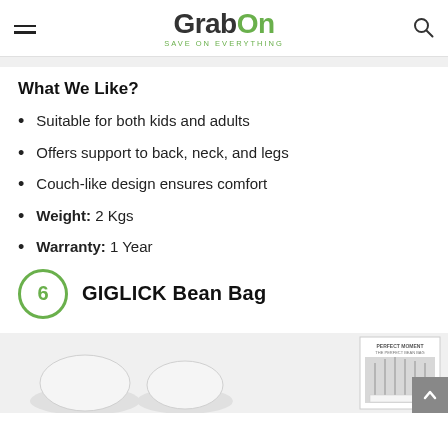GrabOn — SAVE ON EVERYTHING
What We Like?
Suitable for both kids and adults
Offers support to back, neck, and legs
Couch-like design ensures comfort
Weight: 2 Kgs
Warranty: 1 Year
6 GIGLICK Bean Bag
[Figure (photo): Product images of GIGLICK Bean Bag showing white bean bags and a product package]